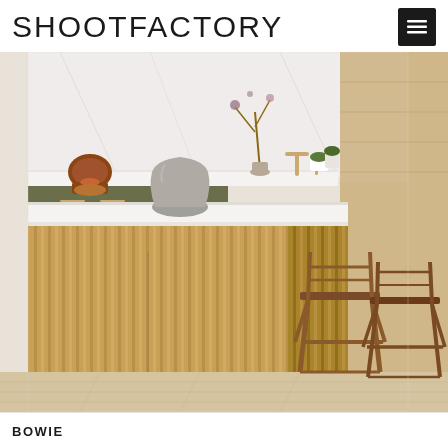SHOOTFACTORY
[Figure (photo): Interior photo of a modern kitchen featuring a large island with fluted/ribbed warm oak wood panels and a white marble countertop. A grey ceramic vase sits on the island. Two bronze/copper metal bar stools are positioned at the island. In the background, olive green cabinetry, white marble backsplash, a copper KitchenAid stand mixer, gold faucet and tap fixtures, potted plants, and dried flowers are visible. The floor is light oak wood.]
BOWIE